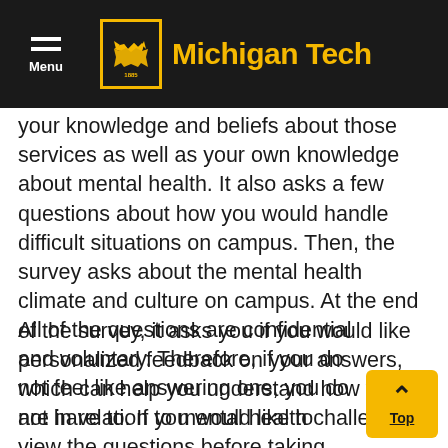Menu | Michigan Tech
your knowledge and beliefs about those services as well as your own knowledge about mental health. It also asks a few questions about how you would handle difficult situations on campus. Then, the survey asks about the mental health climate and culture on campus. At the end of the survey, it asks you if you would like personalized feedback on your answers, which can help you understand how you are in relation to mental health challenges.
All of the questions are confidential and voluntary. Therefore, if you do not feel like answering one, you do not have to. If you would like to view the questions before taking them, you can view the 2021-2022